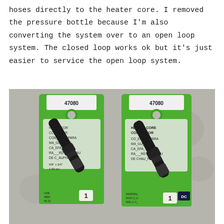hoses directly to the heater core. I removed the pressure bottle because I'm also converting the system over to an open loop system. The closed loop works ok but it's just easier to service the open loop system.
[Figure (photo): Two packaged heater core connectors (item #47080) with black metal fittings, displayed on a concrete surface. Each package has a green backing card with multilingual text.]